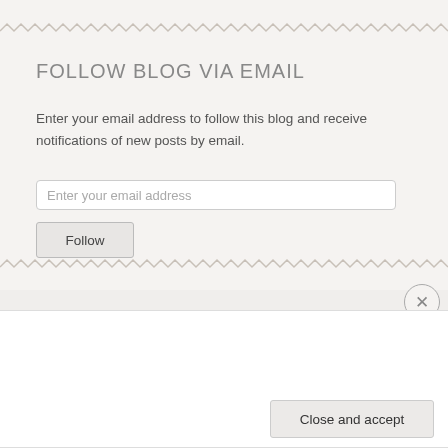FOLLOW BLOG VIA EMAIL
Enter your email address to follow this blog and receive notifications of new posts by email.
[Figure (screenshot): Email input field with placeholder text 'Enter your email address']
[Figure (screenshot): Follow button]
Privacy & Cookies: This site uses cookies. By continuing to use this website, you agree to their use.
To find out more, including how to control cookies, see here: Cookie Policy
[Figure (screenshot): Close and accept button for cookie banner]